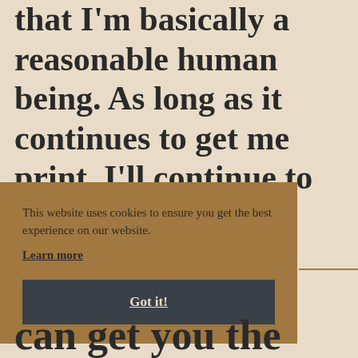that I'm basically a reasonable human being. As long as it continues to get me print, I'll continue to perform in an exuberant manner.
This website uses cookies to ensure you get the best experience on our website. Learn more
Got it!
can get you the